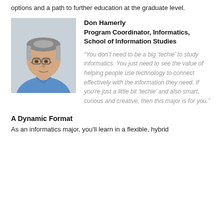options and a path to further education at the graduate level.
[Figure (photo): Headshot photo of Don Hamerly, a middle-aged man with grey-streaked hair and glasses, wearing a blue button-up shirt, against a light grey background.]
Don Hamerly
Program Coordinator, Informatics, School of Information Studies

“You don’t need to be a big ‘techie’ to study informatics. You just need to see the value of helping people use technology to connect effectively with the information they need. If you’re just a little bit ‘techie’ and also smart, curious and creative, then this major is for you.”
A Dynamic Format
As an informatics major, you’ll learn in a flexible, hybrid